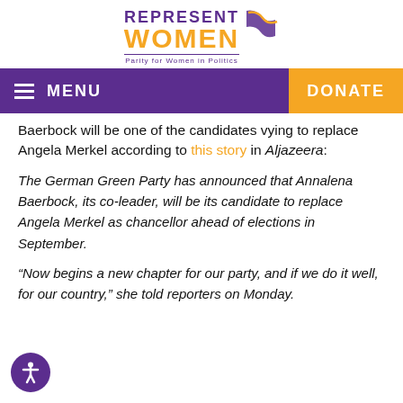[Figure (logo): RepresentWomen logo with purple REPRESENT text, orange WOMEN text, flag graphic, and tagline 'Parity for Women in Politics']
MENU   DONATE
Baerbock will be one of the candidates vying to replace Angela Merkel according to this story in Aljazeera:
The German Green Party has announced that Annalena Baerbock, its co-leader, will be its candidate to replace Angela Merkel as chancellor ahead of elections in September.
“Now begins a new chapter for our party, and if we do it well, for our country,” she told reporters on Monday.